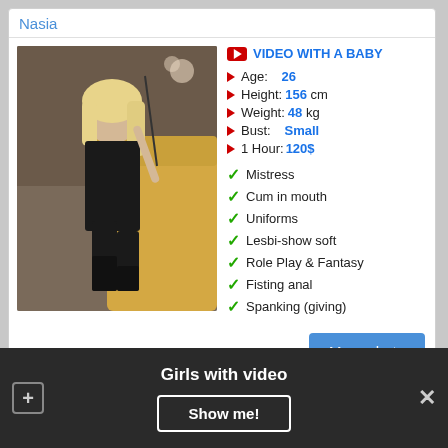Nasia
[Figure (photo): Blonde woman in black dress sitting on a yellow sofa holding a stick]
VIDEO WITH A BABY
Age: 26
Height: 156 cm
Weight: 48 kg
Bust: Small
1 Hour: 120$
Mistress
Cum in mouth
Uniforms
Lesbi-show soft
Role Play & Fantasy
Fisting anal
Spanking (giving)
More photo
Girls with video
Show me!